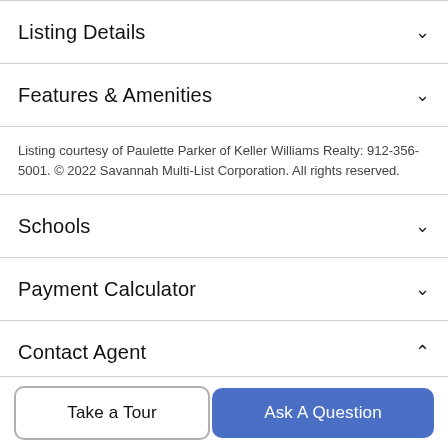Listing Details
Features & Amenities
Listing courtesy of Paulette Parker of Keller Williams Realty: 912-356-5001. © 2022 Savannah Multi-List Corporation. All rights reserved.
Schools
Payment Calculator
Contact Agent
Take a Tour
Ask A Question